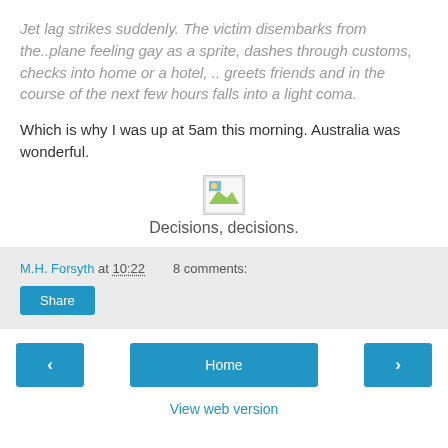Jet lag strikes suddenly. The victim disembarks from the..plane feeling gay as a sprite, dashes through customs, checks into home or a hotel, .. greets friends and in the course of the next few hours falls into a light coma.
Which is why I was up at 5am this morning. Australia was wonderful.
[Figure (illustration): Broken image placeholder icon]
Decisions, decisions.
M.H. Forsyth at 10:22   8 comments:
Share
< Home > View web version